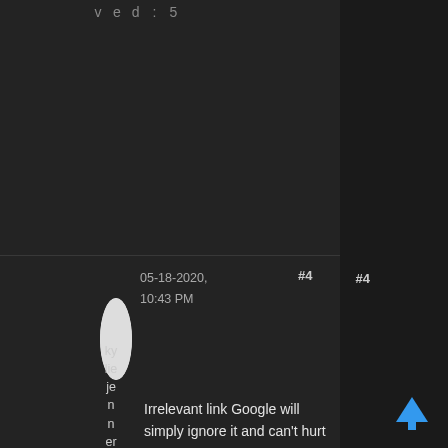v e d : 5
05-18-2020, 10:43 PM  #4
kyllie jenner
Irrelevant link Google will simply ignore it and can't hurt your website but some Blogspot sites can increase your website spam score.
iOS app